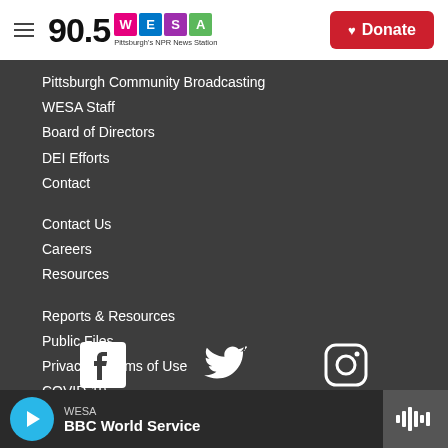90.5 WESA — Pittsburgh's NPR News Station | Donate
Pittsburgh Community Broadcasting
WESA Staff
Board of Directors
DEI Efforts
Contact
Contact Us
Careers
Resources
Reports & Resources
Public Files
Privacy & Terms of Use
COVID-19
FCC Applications
[Figure (logo): Facebook, Twitter, Instagram social media icons]
WESA — BBC World Service